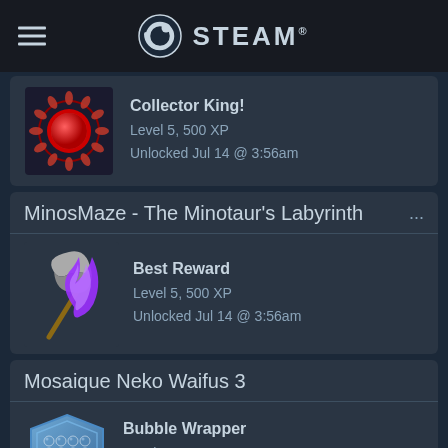STEAM
Collector King!
Level 5, 500 XP
Unlocked Jul 14 @ 3:56am
MinosMaze - The Minotaur's Labyrinth ...
Best Reward
Level 5, 500 XP
Unlocked Jul 14 @ 3:56am
Mosaique Neko Waifus 3
Bubble Wrapper
Level 5, 500 XP
Unlocked Jul 14 @ 3:56am